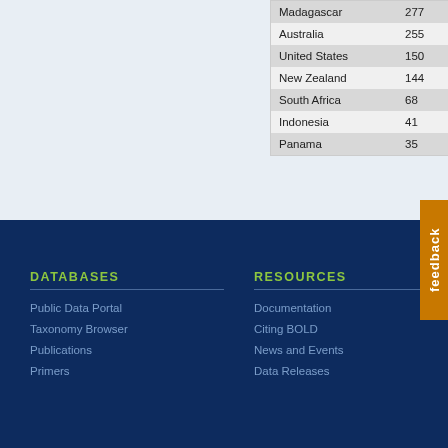| Country | Count |
| --- | --- |
| Madagascar | 277 |
| Australia | 255 |
| United States | 150 |
| New Zealand | 144 |
| South Africa | 68 |
| Indonesia | 41 |
| Panama | 35 |
feedback
DATABASES
RESOURCES
Public Data Portal
Taxonomy Browser
Publications
Primers
Documentation
Citing BOLD
News and Events
Data Releases